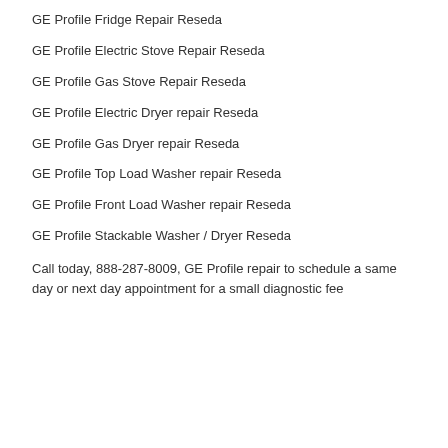GE Profile Fridge Repair Reseda
GE Profile Electric Stove Repair Reseda
GE Profile Gas Stove Repair Reseda
GE Profile Electric Dryer repair Reseda
GE Profile Gas Dryer repair Reseda
GE Profile Top Load Washer repair Reseda
GE Profile Front Load Washer repair Reseda
GE Profile Stackable Washer / Dryer Reseda
Call today, 888-287-8009, GE Profile repair to schedule a same day or next day appointment for a small diagnostic fee